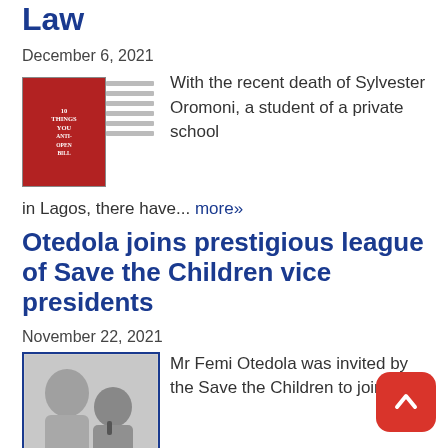Law
December 6, 2021
With the recent death of Sylvester Oromoni, a student of a private school in Lagos, there have... more»
Otedola joins prestigious league of Save the Children vice presidents
November 22, 2021
Mr Femi Otedola was invited by the Save the Children to join the prestigious group ... more»
Nine of those trapped in collapsed Ikoyi structure